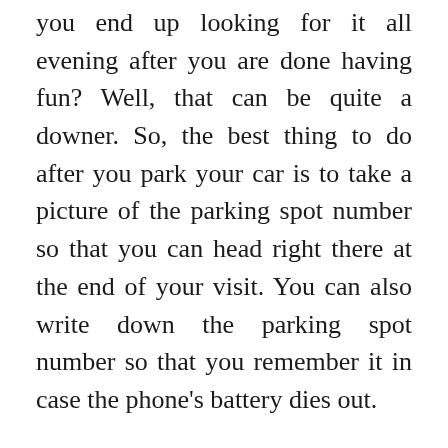you end up looking for it all evening after you are done having fun? Well, that can be quite a downer. So, the best thing to do after you park your car is to take a picture of the parking spot number so that you can head right there at the end of your visit. You can also write down the parking spot number so that you remember it in case the phone's battery dies out.
Head there early: When you go to a theme park on a holiday, you are bound to find massive crowds. In such cases, it is best to ensure that you do not end up standing in long queues. Try reaching the destination early and